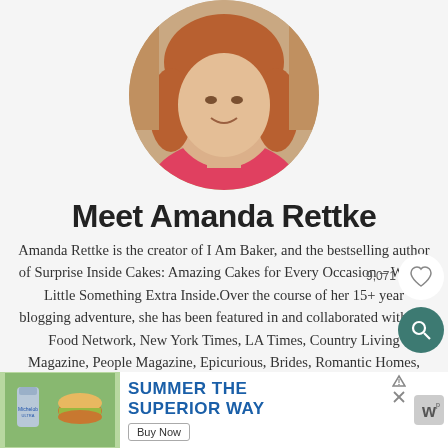[Figure (photo): Circular cropped portrait photo of Amanda Rettke, a woman with reddish-brown hair, smiling]
Meet Amanda Rettke
Amanda Rettke is the creator of I Am Baker, and the bestselling author of Surprise Inside Cakes: Amazing Cakes for Every Occasion – With a Little Something Extra Inside.Over the course of her 15+ year blogging adventure, she has been featured in and collaborated with the Food Network, New York Times, LA Times, Country Living Magazine, People Magazine, Epicurious, Brides, Romantic Homes, life:beautiful, Publishers Weekly, The Daily Mail, Star Tribune, The Globe and Mail, DailyCandy, YumSugar, The Knot, The Kitchn, and Parade, to name a few.
[Figure (screenshot): Advertisement banner: Michelob Ultra beer ad with text 'SUMMER THE SUPERIOR WAY' and a Buy Now button]